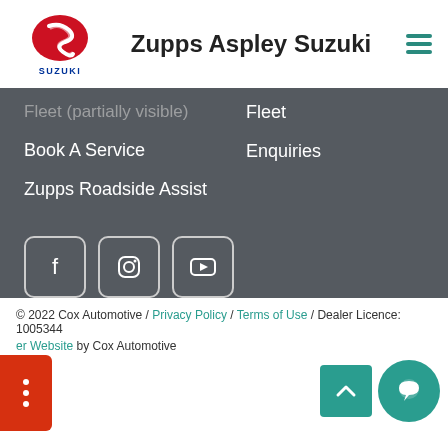[Figure (logo): Suzuki logo with red S emblem and blue SUZUKI text]
Zupps Aspley Suzuki
Fleet
Book A Service
Enquiries
Zupps Roadside Assist
[Figure (illustration): Social media icons: Facebook, Instagram, YouTube]
© 2022 Cox Automotive / Privacy Policy / Terms of Use / Dealer Licence: 1005344
er Website by Cox Automotive